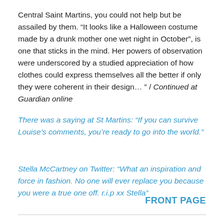Central Saint Martins, you could not help but be assailed by them. “It looks like a Halloween costume made by a drunk mother one wet night in October”, is one that sticks in the mind. Her powers of observation were underscored by a studied appreciation of how clothes could express themselves all the better if only they were coherent in their design… ” / Continued at Guardian online
There was a saying at St Martins: “If you can survive Louise’s comments, you’re ready to go into the world.”
Stella McCartney on Twitter: “What an inspiration and force in fashion. No one will ever replace you because you were a true one off. r.i.p xx Stella”
FRONT PAGE